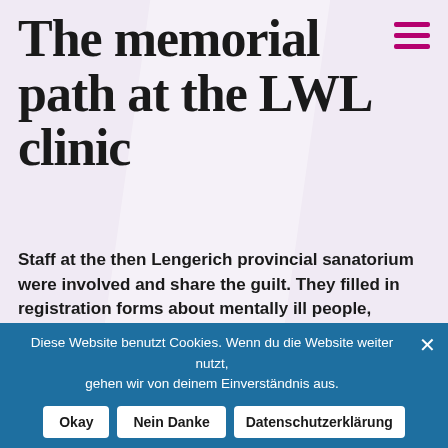The memorial path at the LWL clinic
Staff at the then Lengerich provincial sanatorium were involved and share the guilt. They filled in registration forms about mentally ill people, helped to organize the transport of the sick, and thereby helped to prepare their murder (called “euthanasia”). A blue minus (life) or a red plus (death) on the registration forms in Berlin decided on the patients’ fate. Known by name are 440 patients who were transported from this clinic to their death. That these terrible crimes against mentally ill people could have happened is incomprehensible, as is the fact that many colleagues absolved themselves and their crimes after 1945. Those affected and their relatives must
Diese Website benutzt Cookies. Wenn du die Website weiter nutzt, gehen wir von deinem Einverständnis aus.